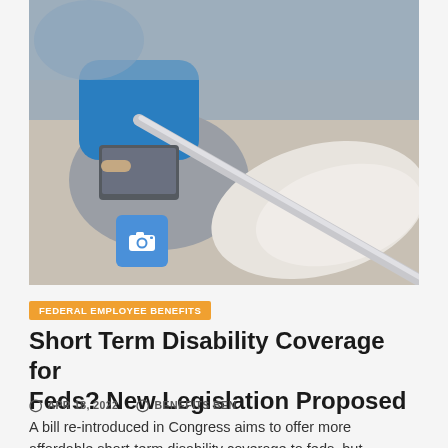[Figure (photo): Person sitting on couch with a leg in a white cast and a crutch, using a laptop]
FEDERAL EMPLOYEE BENEFITS
Short Term Disability Coverage for Feds? New Legislation Proposed
APR 18, 2022   BENEFITS BEN
A bill re-introduced in Congress aims to offer more affordable short-term disability coverage to feds, but proposed law is not...